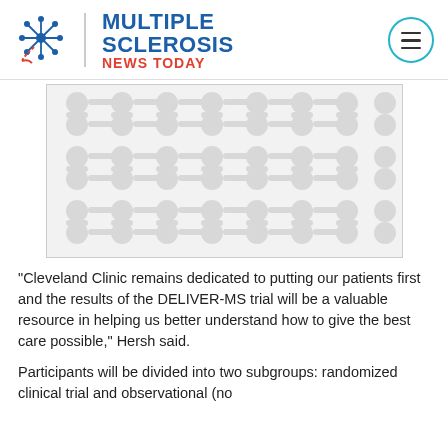Multiple Sclerosis News Today
[Figure (illustration): Decorative placeholder image with light gray molecule/connector pattern on white background]
“Cleveland Clinic remains dedicated to putting our patients first and the results of the DELIVER-MS trial will be a valuable resource in helping us better understand how to give the best care possible,” Hersh said.
Participants will be divided into two subgroups: randomized clinical trial and observational (no